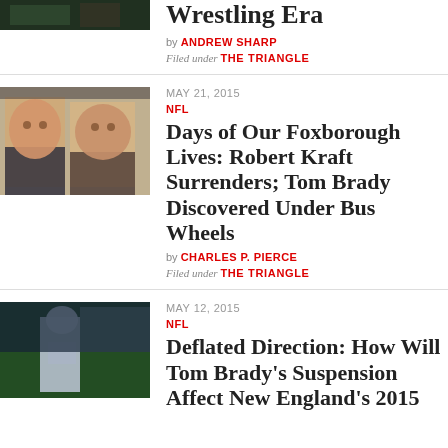[Figure (photo): Top partial article thumbnail - sports/wrestling image cropped]
Wrestling Era
by ANDREW SHARP
Filed under THE TRIANGLE
[Figure (photo): Two men smiling in suits - Roger Goodell and Robert Kraft]
MAY 21, 2015
NFL
Days of Our Foxborough Lives: Robert Kraft Surrenders; Tom Brady Discovered Under Bus Wheels
by CHARLES P. PIERCE
Filed under THE TRIANGLE
[Figure (photo): Tom Brady in New England Patriots uniform, number 12]
MAY 12, 2015
NFL
Deflated Direction: How Will Tom Brady's Suspension Affect New England's 2015